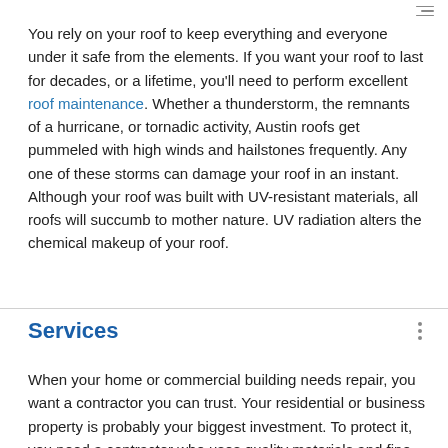You rely on your roof to keep everything and everyone under it safe from the elements. If you want your roof to last for decades, or a lifetime, you'll need to perform excellent roof maintenance. Whether a thunderstorm, the remnants of a hurricane, or tornadic activity, Austin roofs get pummeled with high winds and hailstones frequently. Any one of these storms can damage your roof in an instant. Although your roof was built with UV-resistant materials, all roofs will succumb to mother nature. UV radiation alters the chemical makeup of your roof.
Services
When your home or commercial building needs repair, you want a contractor you can trust. Your residential or business property is probably your biggest investment. To protect it, you need a contractor who uses quality materials and fine craftsmanship to deliver work that lasts. We started 1st Capital Certified Metal